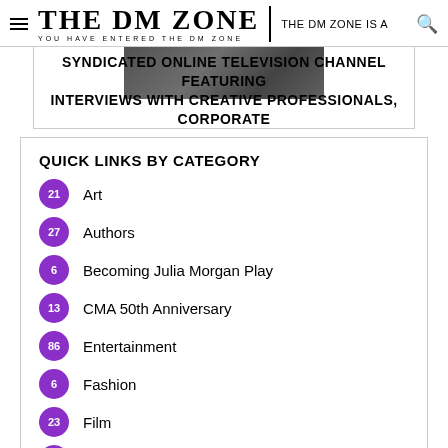THE DM ZONE — YOU HAVE ENTERED THE DM ZONE — THE DM ZONE IS A
SYNDICATED ONLINE TELEVISION CHANNEL FEATURING INTERVIEWS WITH CREATIVE PROFESSIONALS, CORPORATE LEADERS AND GLOBAL EVENTS.
QUICK LINKS BY CATEGORY
21 Art
27 Authors
6 Becoming Julia Morgan Play
13 CMA 50th Anniversary
86 Entertainment
6 Fashion
23 Film
9 Food & Drinks